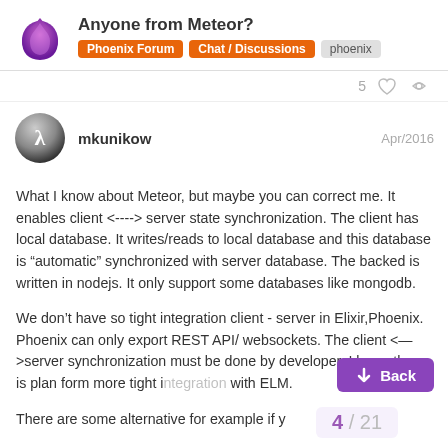Anyone from Meteor? | Phoenix Forum | Chat / Discussions | phoenix
5
mkunikow   Apr/2016
What I know about Meteor, but maybe you can correct me. It enables client <----> server state synchronization. The client has local database. It writes/reads to local database and this database is “automatic” synchronized with server database. The backed is written in nodejs. It only support some databases like mongodb.
We don’t have so tight integration client - server in Elixir,Phoenix. Phoenix can only export REST API/ websockets. The client <—>server synchronization must be done by developer. I know there is plan form more tight integration with ELM.
There are some alternative for example if y...